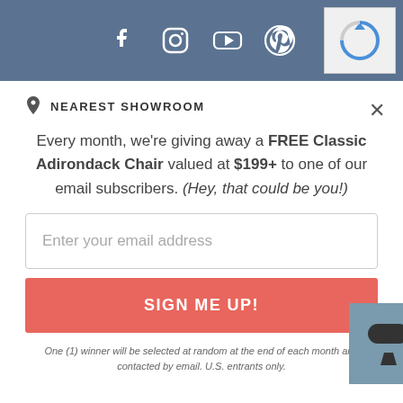[Figure (screenshot): Header bar with social media icons: Facebook, Instagram, YouTube, Pinterest, and a reCAPTCHA widget in the top right corner]
NEAREST SHOWROOM
Every month, we're giving away a FREE Classic Adirondack Chair valued at $199+ to one of our email subscribers. (Hey, that could be you!)
Enter your email address
SIGN ME UP!
One (1) winner will be selected at random at the end of each month and contacted by email. U.S. entrants only.